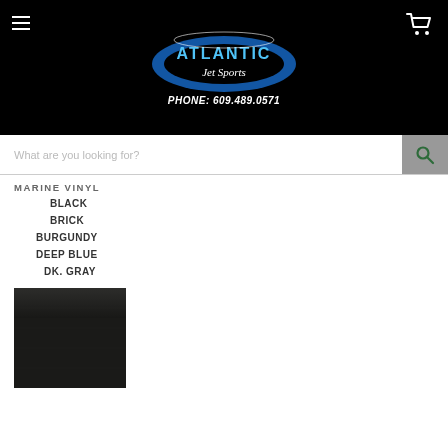[Figure (logo): Atlantic Jet Sports logo with oval blue design and phone number PHONE: 609.489.0571 on black header background]
What are you looking for?
MARINE VINYL
BLACK
BRICK
BURGUNDY
DEEP BLUE
DK. GRAY
[Figure (photo): Dark black marine vinyl fabric texture swatch]